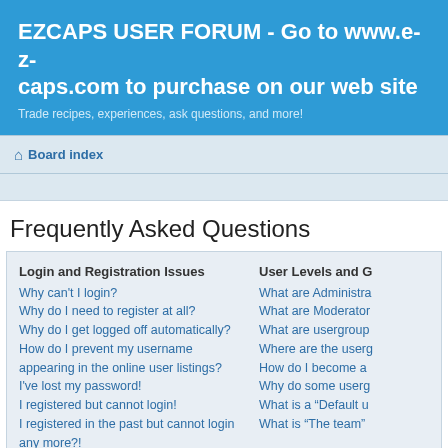EZCAPS USER FORUM - Go to www.e-z-caps.com to purchase on our web site
Trade recipes, experiences, ask questions, and more!
Board index
Frequently Asked Questions
Login and Registration Issues
Why can't I login?
Why do I need to register at all?
Why do I get logged off automatically?
How do I prevent my username appearing in the online user listings?
I've lost my password!
I registered but cannot login!
I registered in the past but cannot login any more?!
What is COPPA?
Why can't I register?
What does the "Delete all board cookies" do?
User Levels and G
What are Administra
What are Moderator
What are usergroup
Where are the userg
How do I become a
Why do some userg
What is a "Default u
What is "The team"
Private Messaging
I cannot send privat
I keep getting unwa